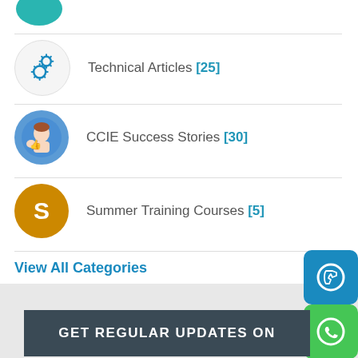Technical Articles [25]
CCIE Success Stories [30]
Summer Training Courses [5]
View All Categories
[Figure (screenshot): Dark banner with text GET REGULAR UPDATES ON]
GET REGULAR UPDATES ON